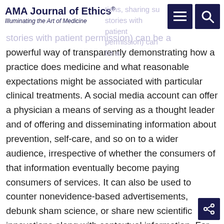AMA Journal of Ethics® Illuminating the Art of Medicine
tions, sharing stories with patient permission) can be a powerful way of transparently demonstrating how a practice does medicine and what reasonable expectations might be associated with particular clinical treatments. A social media account can offer a physician a means of serving as a thought leader and of offering and disseminating information about prevention, self-care, and so on to a wider audience, irrespective of whether the consumers of that information eventually become paying consumers of services. It can also be used to counter nonevidence-based advertisements, debunk sham science, or share new scientific innovations along with contextual information. For instance, in the vignette above, Dr. A could use her engaging